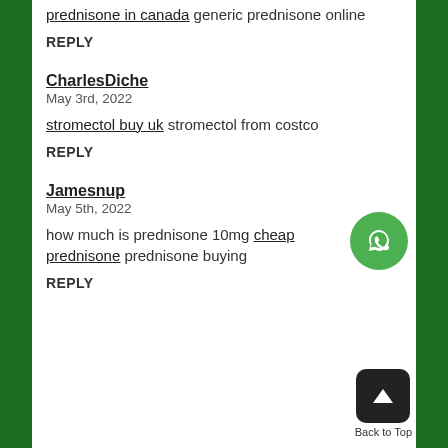prednisone in canada generic prednisone online
REPLY
CharlesDiche
May 3rd, 2022
stromectol buy uk stromectol from costco
REPLY
Jamesnup
May 5th, 2022
how much is prednisone 10mg cheap prednisone prednisone buying
REPLY